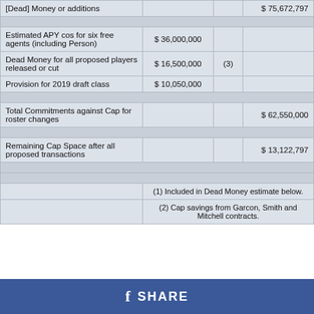| Description | Amount | Note | Total |
| --- | --- | --- | --- |
| [Dead] Money or additions | $ 75,672,797 |  |  |
|  |  |  |  |
| Estimated APY cos for six free agents (including Person) | $ 36,000,000 |  |  |
| Dead Money for all proposed players released or cut | $ 16,500,000 | (3) |  |
| Provision for 2019 draft class | $ 10,050,000 |  |  |
|  |  |  |  |
| Total Commitments against Cap for roster changes |  |  | $ 62,550,000 |
|  |  |  |  |
| Remaining Cap Space after all proposed transactions |  |  | $ 13,122,797 |
|  |  |  |  |
|  |  |  |  |
| (1) Included in Dead Money estimate below. |  |  |  |
| (2) Cap savings from Garcon, Smith and Mitchell contracts. |  |  |  |
f SHARE